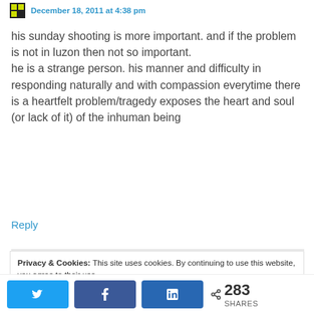December 18, 2011 at 4:38 pm
his sunday shooting is more important. and if the problem is not in luzon then not so important.
he is a strange person. his manner and difficulty in responding naturally and with compassion everytime there is a heartfelt problem/tragedy exposes the heart and soul (or lack of it) of the inhuman being
Reply
Privacy & Cookies: This site uses cookies. By continuing to use this website, you agree to their use.
To find out more, including how to control cookies, see here: Cookie Policy
283 SHARES